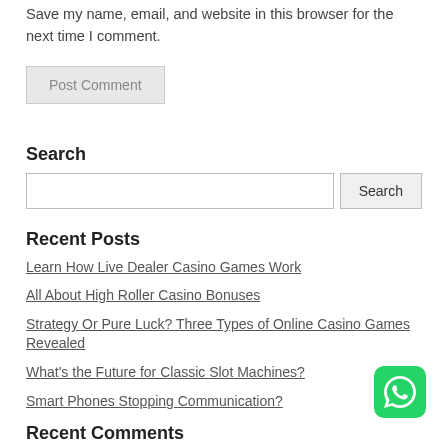Save my name, email, and website in this browser for the next time I comment.
Post Comment
Search
Search (input and button)
Recent Posts
Learn How Live Dealer Casino Games Work
All About High Roller Casino Bonuses
Strategy Or Pure Luck? Three Types of Online Casino Games Revealed
What's the Future for Classic Slot Machines?
Smart Phones Stopping Communication?
[Figure (logo): WhatsApp icon - green circle with white phone/chat bubble]
Recent Comments